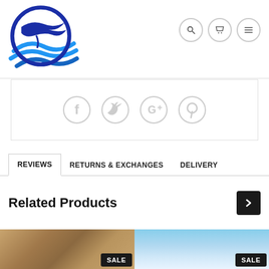[Figure (logo): Company logo with a circular design featuring a bird/eagle silhouette and blue wave lines, in dark blue and light blue colors]
[Figure (infographic): Navigation bar icons: search (magnifier), cart, and hamburger menu, each in a circular grey-bordered button]
[Figure (infographic): Social media share icons row: Facebook, Twitter, Google+, Pinterest — all in light grey]
REVIEWS
RETURNS & EXCHANGES
DELIVERY
Related Products
[Figure (photo): Product thumbnail with wood background, SALE badge]
[Figure (photo): Product thumbnail with sky/blue background, SALE badge]